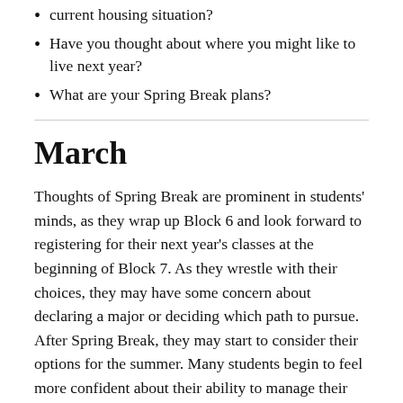current housing situation?
Have you thought about where you might like to live next year?
What are your Spring Break plans?
March
Thoughts of Spring Break are prominent in students' minds, as they wrap up Block 6 and look forward to registering for their next year's classes at the beginning of Block 7. As they wrestle with their choices, they may have some concern about declaring a major or deciding which path to pursue. After Spring Break, they may start to consider their options for the summer. Many students begin to feel more confident about their ability to manage their time. As the housing selection process continues, they may have some anxiety about next year's